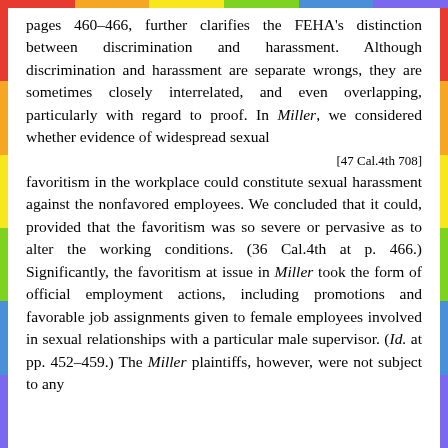pages 460–466, further clarifies the FEHA's distinction between discrimination and harassment. Although discrimination and harassment are separate wrongs, they are sometimes closely interrelated, and even overlapping, particularly with regard to proof. In Miller, we considered whether evidence of widespread sexual
[47 Cal.4th 708]
favoritism in the workplace could constitute sexual harassment against the nonfavored employees. We concluded that it could, provided that the favoritism was so severe or pervasive as to alter the working conditions. (36 Cal.4th at p. 466.) Significantly, the favoritism at issue in Miller took the form of official employment actions, including promotions and favorable job assignments given to female employees involved in sexual relationships with a particular male supervisor. (Id. at pp. 452–459.) The Miller plaintiffs, however, were not subject to any